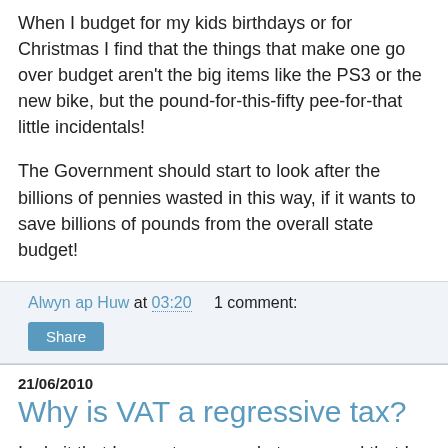When I budget for my kids birthdays or for Christmas I find that the things that make one go over budget aren't the big items like the PS3 or the new bike, but the pound-for-this-fifty pee-for-that little incidentals!
The Government should start to look after the billions of pennies wasted in this way, if it wants to save billions of pounds from the overall state budget!
Alwyn ap Huw at 03:20    1 comment:
Share
21/06/2010
Why is VAT a regressive tax?
I admit that I am not very good at sums and that I am easily confused by economic arguments. So I hope that somebody will be able to explain a comment made by Roger Williams on Sunday's Politics Show and by David Milliband on today's Daily Politics, that raising VAT is a regressive tax, because it